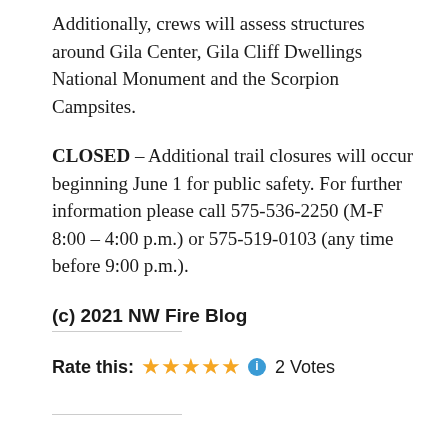Additionally, crews will assess structures around Gila Center, Gila Cliff Dwellings National Monument and the Scorpion Campsites.
CLOSED – Additional trail closures will occur beginning June 1 for public safety. For further information please call 575-536-2250 (M-F 8:00 – 4:00 p.m.) or 575-519-0103 (any time before 9:00 p.m.).
(c) 2021 NW Fire Blog
Rate this: ★★★★★ ℹ 2 Votes